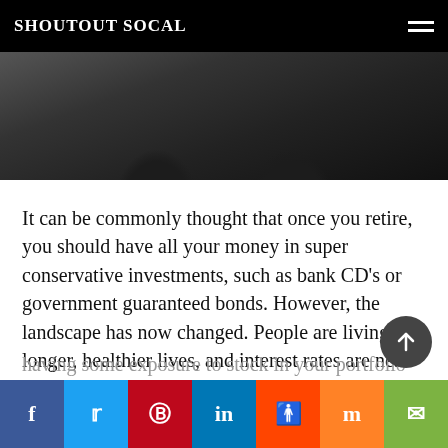SHOUTOUT SOCAL
[Figure (photo): Two men in dark suits photographed from mid-torso up against a neutral background]
It can be commonly thought that once you retire, you should have all your money in super conservative investments, such as bank CD's or government guaranteed bonds. However, the landscape has now changed. People are living longer, healthier lives, and interest rates are near historic lows. Depending on your individual situation, you may want to consider whether having some exposure to stock in your portfolio could be beneficial...